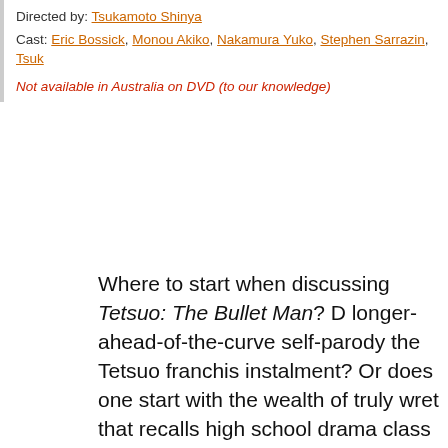Directed by: Tsukamoto Shinya
Cast: Eric Bossick, Monou Akiko, Nakamura Yuko, Stephen Sarrazin, Tsuk…
Not available in Australia on DVD (to our knowledge)
Where to start when discussing Tetsuo: The Bullet Man? D longer-ahead-of-the-curve self-parody the Tetsuo franchis instalment? Or does one start with the wealth of truly wret that recalls high school drama class – only not quite that g with the completely and utterly pointless nature of the who because anyone familiar with Tetsuo will be furious at the this crap (there's no credible reason the film should be in k merely shrug and ask, 'Who gives a rat's ass? I've seen b
With Tsukamoto Shinya acting as production designer, edi…